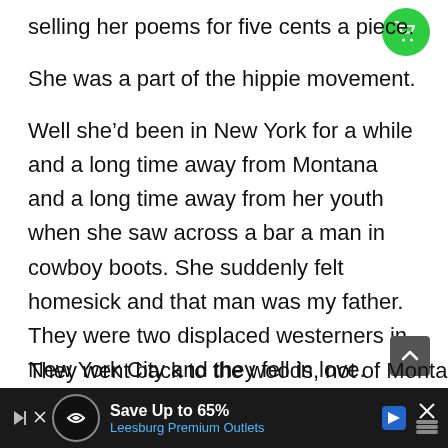selling her poems for five cents a piece.
She was a part of the hippie movement.
Well she’d been in New York for a while and a long time away from Montana and a long time away from her youth when she saw across a bar a man in cowboy boots. She suddenly felt homesick and that man was my father. They were two displaced westerners in New York City and they fell in love.
They went back to the woods, not of Montana, but of l… … ia… that
[Figure (other): Green circular shopping cart button icon in top right corner]
[Figure (other): Dark grey scroll-to-top button with upward chevron icon]
[Figure (other): Advertisement bar at bottom: Save Up to 65% Leesburg Premium Outlets with logo and navigation arrow icons]